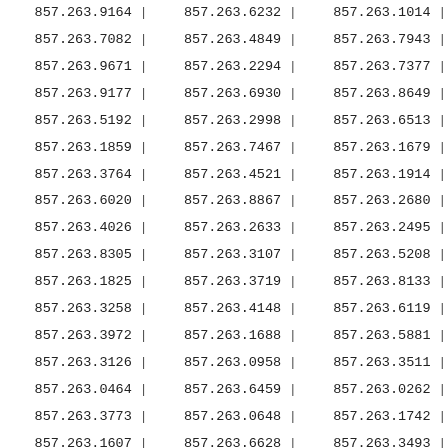| 857.263.9164 | | | 857.263.6232 | | | 857.263.1014 | | |
| 857.263.7082 | | | 857.263.4849 | | | 857.263.7943 | | |
| 857.263.9671 | | | 857.263.2294 | | | 857.263.7377 | | |
| 857.263.9177 | | | 857.263.6930 | | | 857.263.8649 | | |
| 857.263.5192 | | | 857.263.2998 | | | 857.263.6513 | | |
| 857.263.1859 | | | 857.263.7467 | | | 857.263.1679 | | |
| 857.263.3764 | | | 857.263.4521 | | | 857.263.1914 | | |
| 857.263.6020 | | | 857.263.8867 | | | 857.263.2680 | | |
| 857.263.4026 | | | 857.263.2633 | | | 857.263.2495 | | |
| 857.263.8305 | | | 857.263.3107 | | | 857.263.5208 | | |
| 857.263.1825 | | | 857.263.3719 | | | 857.263.8133 | | |
| 857.263.3258 | | | 857.263.4148 | | | 857.263.6119 | | |
| 857.263.3972 | | | 857.263.1688 | | | 857.263.5881 | | |
| 857.263.3126 | | | 857.263.0958 | | | 857.263.3511 | | |
| 857.263.0464 | | | 857.263.6459 | | | 857.263.0262 | | |
| 857.263.3773 | | | 857.263.0648 | | | 857.263.1742 | | |
| 857.263.1607 | | | 857.263.6628 | | | 857.263.3493 | | |
| 857.263.8787 | | | 857.263.4217 | | | 857.263.1317 | | |
| 857.263.???? | | | 857.263.???? | | | 857.263.???? | | |